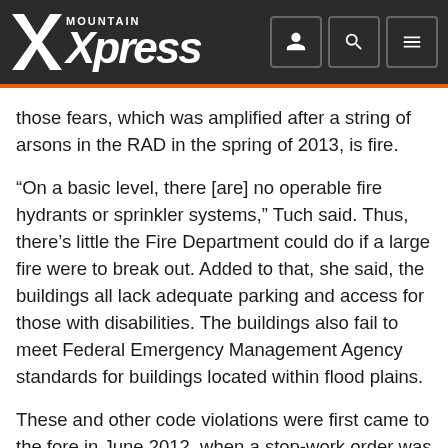Mountain Xpress
those fears, which was amplified after a string of arsons in the RAD in the spring of 2013, is fire.
“On a basic level, there [are] no operable fire hydrants or sprinkler systems,” Tuch said. Thus, there’s little the Fire Department could do if a large fire were to break out. Added to that, she said, the buildings all lack adequate parking and access for those with disabilities. The buildings also fail to meet Federal Emergency Management Agency standards for buildings located within flood plains.
These and other code violations were first came to the fore in June 2012, when a stop-work order was issued to several tenants who were renovating their studios. Subsequent site inspections exposed a lapse in building tenants in the 2000s. Those gaps led to the loss of the buildings’ certificate of occupancy and further rendered them unfit for use. However, through ongoing dialogue